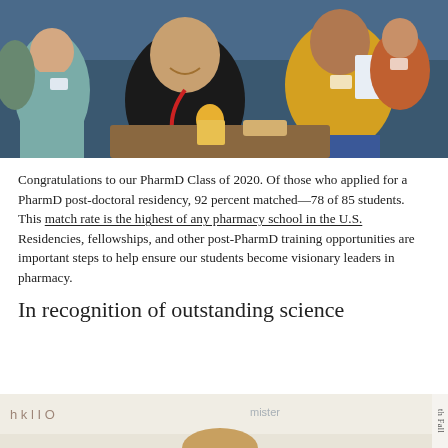[Figure (photo): Students sitting in a lecture hall, laughing and eating. A man in a black jacket with a red lanyard is smiling broadly. A woman in a yellow top holds papers and smiles. Others are visible in the background.]
Congratulations to our PharmD Class of 2020. Of those who applied for a PharmD post-doctoral residency, 92 percent matched—78 of 85 students. This match rate is the highest of any pharmacy school in the U.S. Residencies, fellowships, and other post-PharmD training opportunities are important steps to help ensure our students become visionary leaders in pharmacy.
In recognition of outstanding science
[Figure (photo): A person standing in front of a whiteboard with handwritten equations and text, partially visible at the bottom of the page. Vertical text on the right side reads 'th Fall'.]